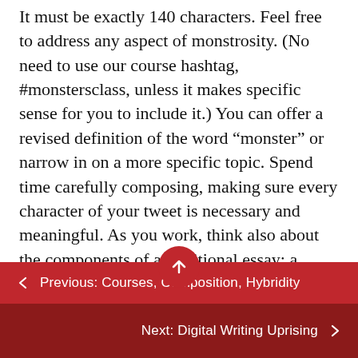It must be exactly 140 characters. Feel free to address any aspect of monstrosity. (No need to use our course hashtag, #monstersclass, unless it makes specific sense for you to include it.) You can offer a revised definition of the word “monster” or narrow in on a more specific topic. Spend time carefully composing, making sure every character of your tweet is necessary and meaningful. As you work, think also about the components of a traditional essay: a hook, an argument, supporting evidence, etc. While you can take creative license in how you interpret the word “essay,” you should at least be able to make an argument (if pressed) for
← Previous: Courses, Composition, Hybridity
Next: Digital Writing Uprising →